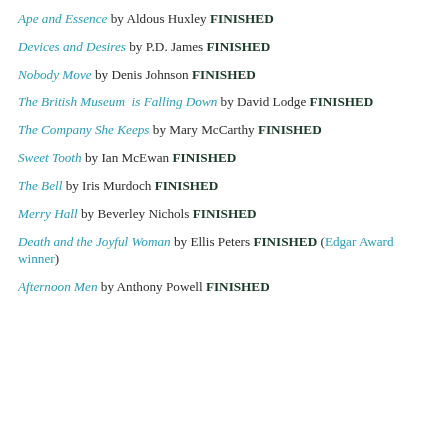Ape and Essence by Aldous Huxley FINISHED
Devices and Desires by P.D. James FINISHED
Nobody Move by Denis Johnson FINISHED
The British Museum is Falling Down by David Lodge FINISHED
The Company She Keeps by Mary McCarthy FINISHED
Sweet Tooth by Ian McEwan FINISHED
The Bell by Iris Murdoch FINISHED
Merry Hall by Beverley Nichols FINISHED
Death and the Joyful Woman by Ellis Peters FINISHED (Edgar Award winner)
Afternoon Men by Anthony Powell FINISHED